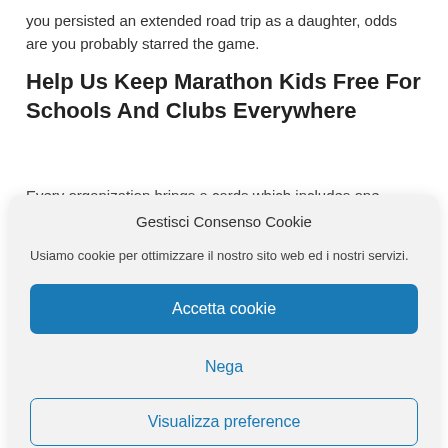you persisted an extended road trip as a daughter, odds are you probably starred the game.
Help Us Keep Marathon Kids Free For Schools And Clubs Everywhere
Every organization brings a cards which includes one principal
Gestisci Consenso Cookie
Usiamo cookie per ottimizzare il nostro sito web ed i nostri servizi.
Accetta cookie
Nega
Visualizza preference